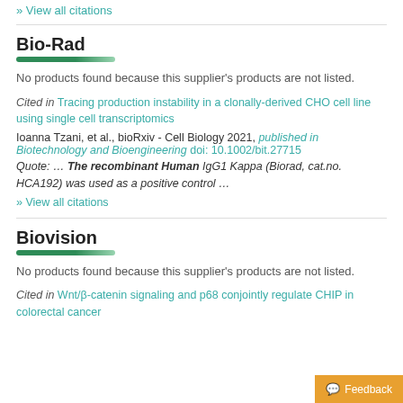» View all citations
Bio-Rad
No products found because this supplier's products are not listed.
Cited in Tracing production instability in a clonally-derived CHO cell line using single cell transcriptomics
Ioanna Tzani, et al., bioRxiv - Cell Biology 2021, published in Biotechnology and Bioengineering doi: 10.1002/bit.27715
Quote: ... The recombinant Human IgG1 Kappa (Biorad, cat.no. HCA192) was used as a positive control ...
» View all citations
Biovision
No products found because this supplier's products are not listed.
Cited in Wnt/β-catenin signaling and p68 conjointly regulate CHIP in colorectal cancer